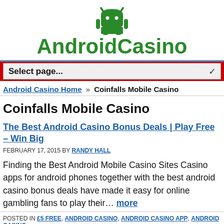[Figure (logo): AndroidCasino logo with green Android robot icon above bold green 'AndroidCasino' text]
Select page...
Android Casino Home » Coinfalls Mobile Casino
Coinfalls Mobile Casino
The Best Android Casino Bonus Deals | Play Free – Win Big
FEBRUARY 17, 2015 BY RANDY HALL
Finding the Best Android Mobile Casino Sites Casino apps for android phones together with the best android casino bonus deals have made it easy for online gambling fans to play their… more
POSTED IN £5 FREE, ANDROID CASINO, ANDROID CASINO APP, ANDROID CASINO